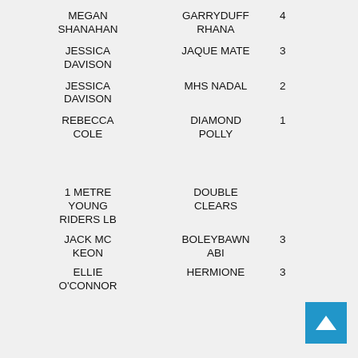MEGAN SHANAHAN   GARRYDUFF RHANA   4
JESSICA DAVISON   JAQUE MATE   3
JESSICA DAVISON   MHS NADAL   2
REBECCA COLE   DIAMOND POLLY   1
1 METRE YOUNG RIDERS LB   DOUBLE CLEARS
JACK MC KEON   BOLEYBAWN ABI   3
ELLIE O'CONNOR   HERMIONE   3